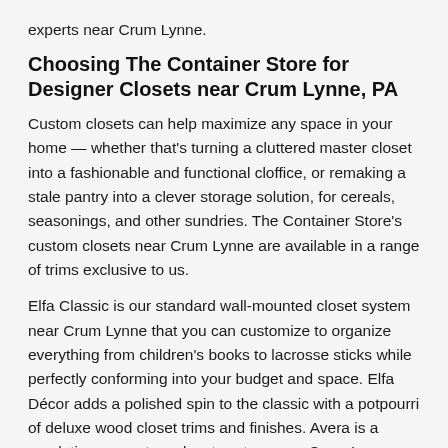experts near Crum Lynne.
Choosing The Container Store for Designer Closets near Crum Lynne, PA
Custom closets can help maximize any space in your home — whether that's turning a cluttered master closet into a fashionable and functional cloffice, or remaking a stale pantry into a clever storage solution, for cereals, seasonings, and other sundries. The Container Store's custom closets near Crum Lynne are available in a range of trims exclusive to us.
Elfa Classic is our standard wall-mounted closet system near Crum Lynne that you can customize to organize everything from children's books to lacrosse sticks while perfectly conforming into your budget and space. Elfa Décor adds a polished spin to the classic with a potpourri of deluxe wood closet trims and finishes. Avera is a revolutionary custom closet system near Crum Lynne that offers a built-in closet look crowned with LED lighting and full-extension drawers at an amazing price. Lastly, our exclusive Preston offers unmatched elegance for those who need tailor-made built-in spaces near Crum Lynne. Pick your Elfa, Elfa Décor,